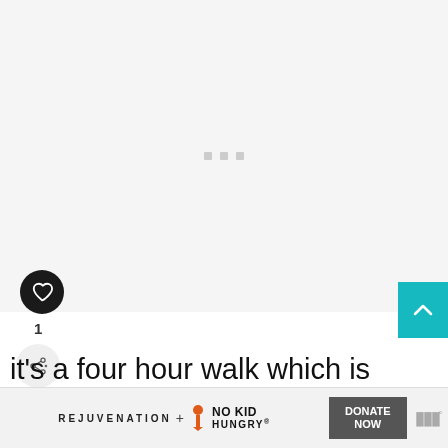[Figure (photo): Large image placeholder with light gray background and three small gray loading dots centered]
[Figure (illustration): Black circular heart/like button icon]
1
[Figure (illustration): Share button icon (less-than symbol with plus)]
[Figure (illustration): Teal scroll-to-top button with upward chevron arrow]
[Figure (photo): Circular thumbnail image of Corinna in Tasmania]
WHAT'S NEXT → Corinna in Tasmania:...
it's a four hour walk which is rewarded with a breathtaking view at the top
[Figure (logo): Advertisement bar: REJUVENATION + NO KID HUNGRY DONATE NOW logo banner]